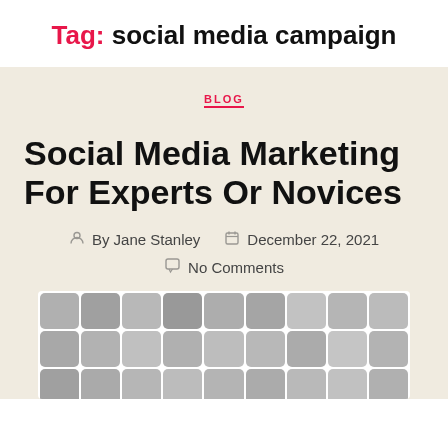Tag: social media campaign
BLOG
Social Media Marketing For Experts Or Novices
By Jane Stanley   December 22, 2021   No Comments
[Figure (photo): Grid of black and white illustrated portrait thumbnails of various people, arranged in rows of 9]